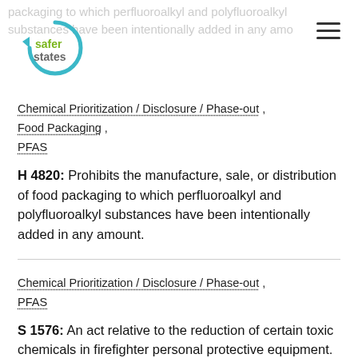packaging to which perfluoroalkyl and polyfluoroalkyl substances have been intentionally added in any amo…
[Figure (logo): Safer States logo: circular teal arrow with 'safer states' text in green and grey]
Chemical Prioritization / Disclosure / Phase-out , Food Packaging , PFAS
H 4820: Prohibits the manufacture, sale, or distribution of food packaging to which perfluoroalkyl and polyfluoroalkyl substances have been intentionally added in any amount.
Chemical Prioritization / Disclosure / Phase-out , PFAS
S 1576: An act relative to the reduction of certain toxic chemicals in firefighter personal protective equipment.